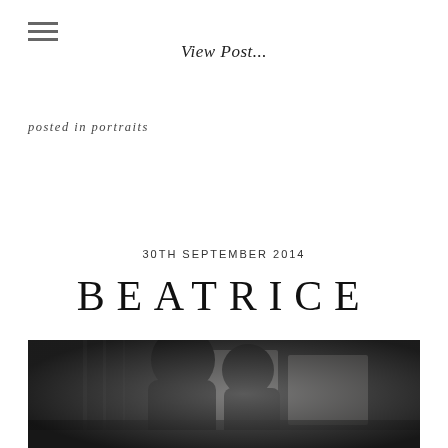≡
View Post...
posted in portraits
30TH SEPTEMBER 2014
BEATRICE
[Figure (photo): Black and white photograph of two silhouetted figures in an intimate pose, leaning close together, with blurred indoor background showing windows and light]